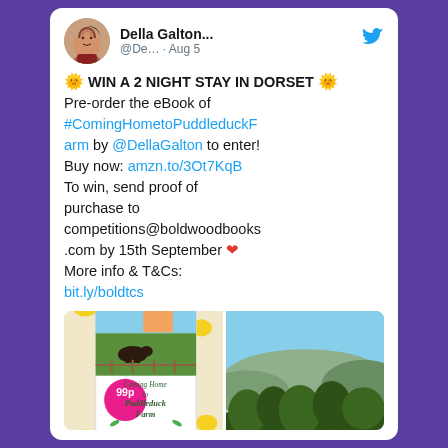[Figure (screenshot): Twitter/X profile avatar showing a woman with dark hair]
Della Galton... @De… · Aug 5
🌞 WIN A 2 NIGHT STAY IN DORSET 🌞
Pre-order the eBook of #ComingHometoPuddleduckFarm by @DellaGalton to enter!
Buy now: amzn.to/3Ot7KqB
To win, send proof of purchase to competitions@boldwoodbooks.com by 15th September ❤️
More info & T&Cs:
bit.ly/boldtcs
[Figure (photo): Book cover of 'Coming Home to Puddleduck Farm' by Della Galton, priced 99p, with rubber ducks around it]
[Figure (photo): Landscape photo showing a scenic view with trees and hills under a blue sky]